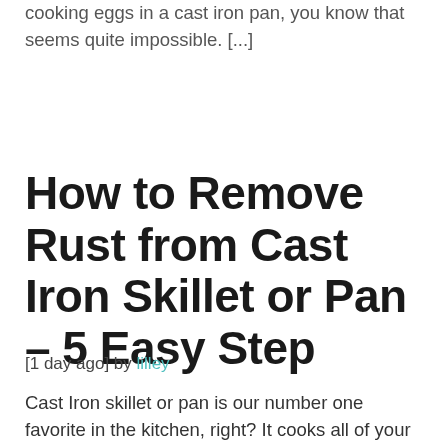cooking eggs in a cast iron pan, you know that seems quite impossible. [...]
How to Remove Rust from Cast Iron Skillet or Pan – 5 Easy Step
[1 day ago] by lilley
Cast Iron skillet or pan is our number one favorite in the kitchen, right? It cooks all of your go-to recipes and keeps well at our heat too. For the skillet